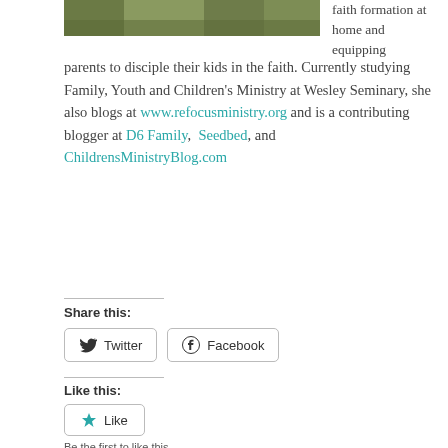[Figure (photo): Outdoor grassy/ground scene photo]
faith formation at home and equipping parents to disciple their kids in the faith. Currently studying Family, Youth and Children's Ministry at Wesley Seminary, she also blogs at www.refocusministry.org and is a contributing blogger at D6 Family, Seedbed, and ChildrensMinistryBlog.com
Share this:
Twitter
Facebook
Like this:
Like
Be the first to like this.